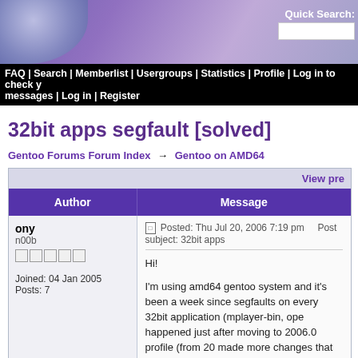Quick Search:
FAQ | Search | Memberlist | Usergroups | Statistics | Profile | Log in to check your messages | Log in | Register
32bit apps segfault [solved]
Gentoo Forums Forum Index → Gentoo on AMD64
| Author | Message |
| --- | --- |
| ony
n00b

Joined: 04 Jan 2005
Posts: 7 | Posted: Thu Jul 20, 2006 7:19 pm   Post subject: 32bit apps...

Hi!
I'm using amd64 gentoo system and it's been a week since segfaults on every 32bit application (mplayer-bin, ope... happened just after moving to 2006.0 profile (from 20... made more changes that time.

I'm using portage-xgl overlay and my system is up to... tried to recompile glibc (with different use flags), kern... None helped. |